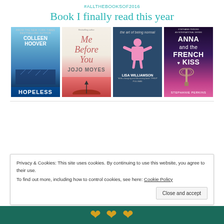#ALLTHEBOOKSOF2016
Book I finally read this year
[Figure (illustration): Four book covers in a row: 1) Hopeless by Colleen Hoover - blue sky/cityscape cover; 2) Me Before You by Jojo Moyes - silhouette on pink/cream cover; 3) The Art of Being Normal by Lisa Williamson - teal cover with figure; 4) Anna and the French Kiss by Stephanie Perkins - pink/purple with Eiffel Tower]
Privacy & Cookies: This site uses cookies. By continuing to use this website, you agree to their use.
To find out more, including how to control cookies, see here: Cookie Policy
Close and accept